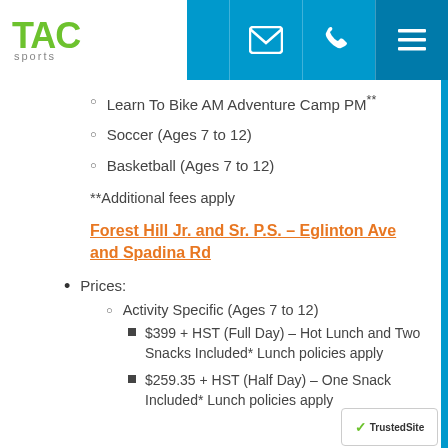TAC Sports
Learn To Bike AM Adventure Camp PM**
Soccer (Ages 7 to 12)
Basketball (Ages 7 to 12)
**Additional fees apply
Forest Hill Jr. and Sr. P.S. – Eglinton Ave and Spadina Rd
Prices:
Activity Specific (Ages 7 to 12)
$399 + HST (Full Day) – Hot Lunch and Two Snacks Included* Lunch policies apply
$259.35 + HST (Half Day) – One Snack Included* Lunch policies apply